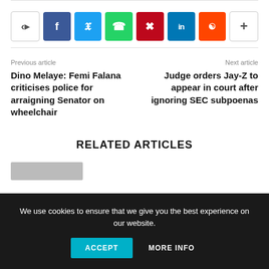[Figure (other): Social share bar with icons: share arrow, Facebook, Twitter, WhatsApp, Pinterest, LinkedIn, Reddit, and more (+) button]
Previous article
Dino Melaye: Femi Falana criticises police for arraigning Senator on wheelchair
Next article
Judge orders Jay-Z to appear in court after ignoring SEC subpoenas
RELATED ARTICLES
We use cookies to ensure that we give you the best experience on our website.
ACCEPT   MORE INFO